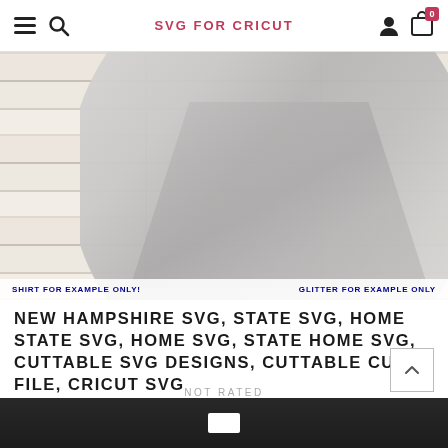SVG FOR CRICUT
[Figure (photo): A gray knotted fabric/shirt displayed against a rustic white distressed wood background. Overlay text at bottom reads 'SHIRT FOR EXAMPLE ONLY!' on the left and 'GLITTER FOR EXAMPLE ONLY' on the right.]
NEW HAMPSHIRE SVG, STATE SVG, HOME STATE SVG, HOME SVG, STATE HOME SVG, CUTTABLE SVG DESIGNS, CUTTABLE CUT FILE, CRICUT SVG
NOT RATED
$2.80
[Figure (photo): Bottom portion of a dark navy/black shirt product, partially visible at the bottom of the page.]